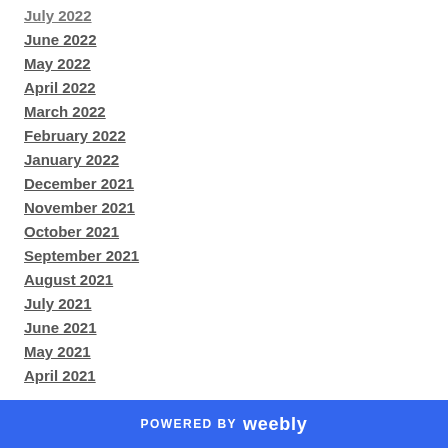July 2022
June 2022
May 2022
April 2022
March 2022
February 2022
January 2022
December 2021
November 2021
October 2021
September 2021
August 2021
July 2021
June 2021
May 2021
April 2021
POWERED BY weebly